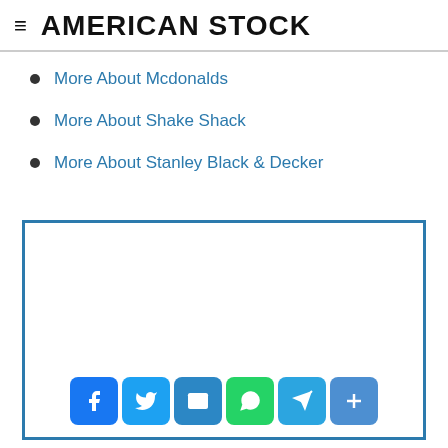AMERICAN STOCK
More About Mcdonalds
More About Shake Shack
More About Stanley Black & Decker
[Figure (other): Advertisement box with social sharing buttons: Facebook, Twitter, Email, WhatsApp, Telegram, Share]